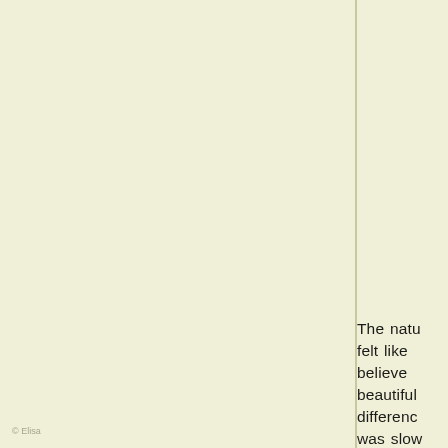The natu felt like believe beautiful differenc was slow front of r on for h